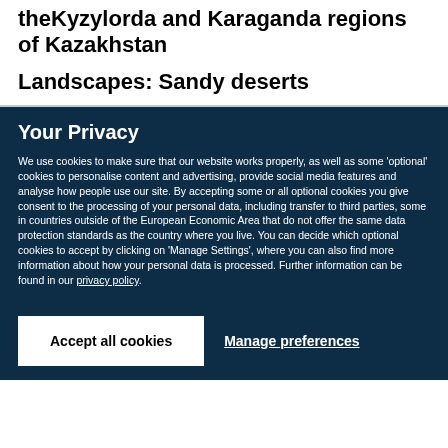theKyzylorda and Karaganda regions of Kazakhstan
Landscapes: Sandy deserts
Your Privacy
We use cookies to make sure that our website works properly, as well as some 'optional' cookies to personalise content and advertising, provide social media features and analyse how people use our site. By accepting some or all optional cookies you give consent to the processing of your personal data, including transfer to third parties, some in countries outside of the European Economic Area that do not offer the same data protection standards as the country where you live. You can decide which optional cookies to accept by clicking on 'Manage Settings', where you can also find more information about how your personal data is processed. Further information can be found in our privacy policy.
Accept all cookies
Manage preferences